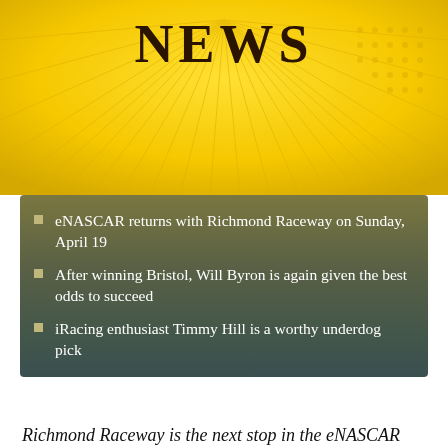[Figure (illustration): Yellow sunburst banner graphic with the word NEWS in bold serif letters at the top center]
eNASCAR returns with Richmond Raceway on Sunday, April 19
After winning Bristol, Will Byron is again given the best odds to succeed
iRacing enthusiast Timmy Hill is a worthy underdog pick
Richmond Raceway is the next stop in the eNASCAR iRacing Series with Will Byron coming in hot from his latest victory and Timmy Hill listed as a close second. No racer has won two events. With three more races left, the